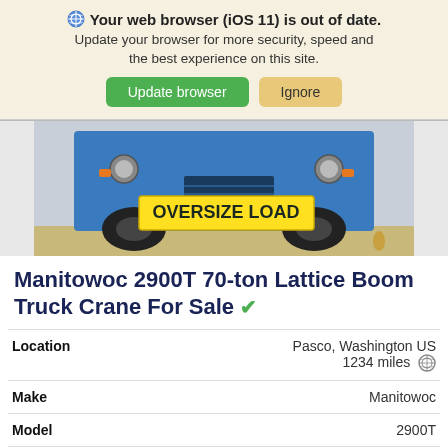🌐 Your web browser (iOS 11) is out of date. Update your browser for more security, speed and the best experience on this site. [Update browser] [Ignore]
[Figure (photo): Rear view of a large blue truck with a yellow 'OVERSIZE LOAD' banner across the back, parked outdoors.]
Manitowoc 2900T 70-ton Lattice Boom Truck Crane For Sale ✔
|  |  |
| --- | --- |
| Location | Pasco, Washington US
1234 miles 🌐 |
| Make | Manitowoc |
| Model | 2900T |